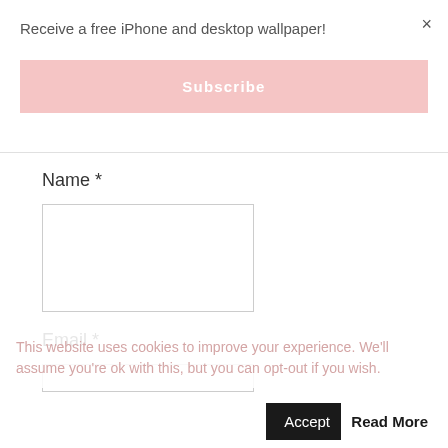×
Receive a free iPhone and desktop wallpaper!
Subscribe
Name *
[Figure (other): Empty text input field for Name]
Email *
[Figure (other): Partially visible empty text input field for Email]
This website uses cookies to improve your experience. We'll assume you're ok with this, but you can opt-out if you wish.
Accept
Read More